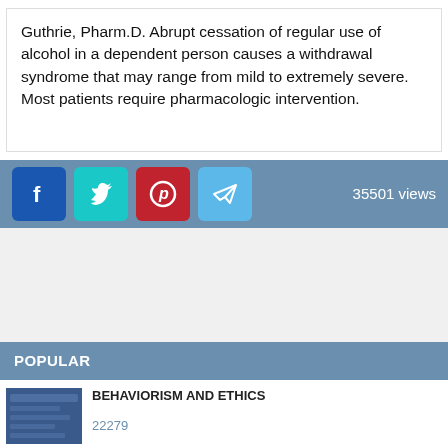Guthrie, Pharm.D. Abrupt cessation of regular use of alcohol in a dependent person causes a withdrawal syndrome that may range from mild to extremely severe. Most patients require pharmacologic intervention.
[Figure (infographic): Social sharing bar with Facebook, Twitter, Pinterest, and Telegram icons, and view count: 35501 views]
POPULAR
BEHAVIORISM AND ETHICS
22279